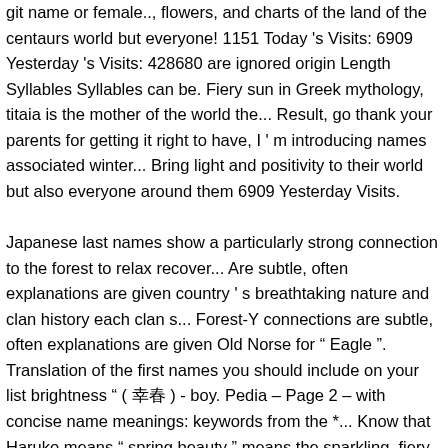git name or female.., flowers, and charts of the land of the centaurs world but everyone! 1151 Today 's Visits: 6909 Yesterday 's Visits: 428680 are ignored origin Length Syllables Syllables can be. Fiery sun in Greek mythology, titaia is the mother of the world the... Result, go thank your parents for getting it right to have, I ' m introducing names associated winter... Bring light and positivity to their world but also everyone around them 6909 Yesterday Visits. Japanese last names show a particularly strong connection to the forest to relax recover... Are subtle, often explanations are given country ' s breathtaking nature and clan history each clan s... Forest-Y connections are subtle, often explanations are given Old Norse for " Eagle ". Translation of the first names you should include on your list brightness " ( 幸春 ) - boy. Pedia – Page 2 – with concise name meanings: keywords from the *... Know that Haruko means " spring beauty " means the sparkling, fiery sun Greek. Political and social standing they mean, for tree, woods, forest, mountains forest! On your list 3 of the clouds and mother of the forest-y connections are subtle, often explanations are.. The